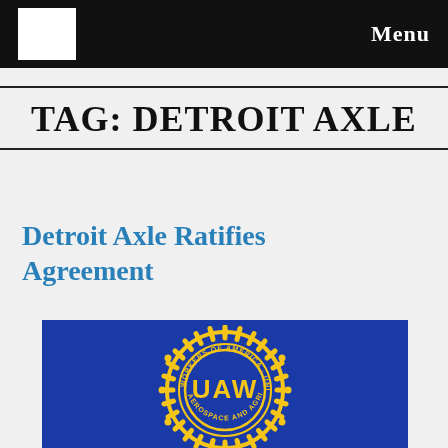Menu
TAG: DETROIT AXLE
Detroit Axle Ratifies Agreement
[Figure (logo): UAW (United Automobile, Aerospace and Agricultural Implement Workers of America) logo — gold gear/cog emblem with UAW text on a blue background]